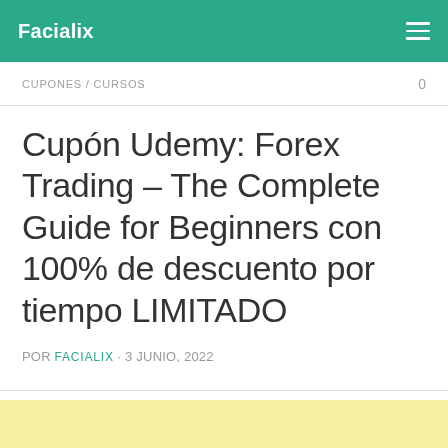Facialix
CUPONES / CURSOS
Cupón Udemy: Forex Trading – The Complete Guide for Beginners con 100% de descuento por tiempo LIMITADO
POR FACIALIX · 3 JUNIO, 2022